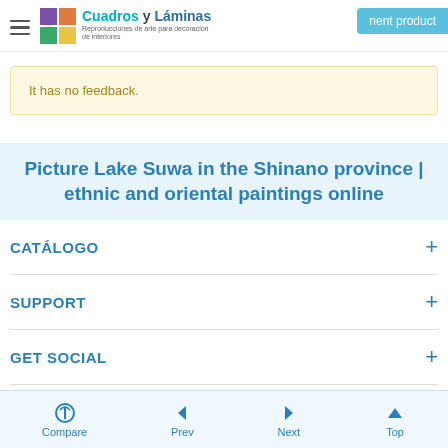Cuadros y Láminas — Reproducciones de arte para decoración
It has no feedback.
Picture Lake Suwa in the Shinano province | ethnic and oriental paintings online
CATÁLOGO
SUPPORT
GET SOCIAL
Compare  Prev  Next  Top